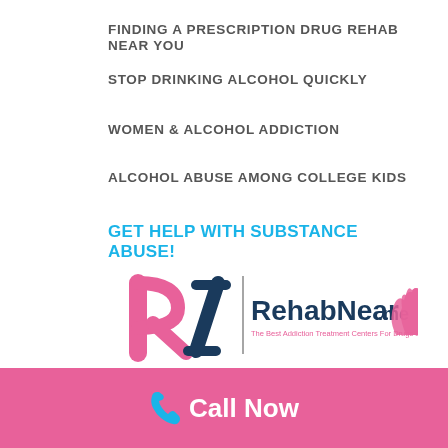FINDING A PRESCRIPTION DRUG REHAB NEAR YOU
STOP DRINKING ALCOHOL QUICKLY
WOMEN & ALCOHOL ADDICTION
ALCOHOL ABUSE AMONG COLLEGE KIDS
GET HELP WITH SUBSTANCE ABUSE!
[Figure (logo): RehabNear.me logo — pink RI monogram, dark blue vertical bar, RehabNear.me wordmark with tagline 'The Best Addiction Treatment Centers For Drugs & Alcohol', and pink hands icon]
www.RehabNear.Me
Call Now